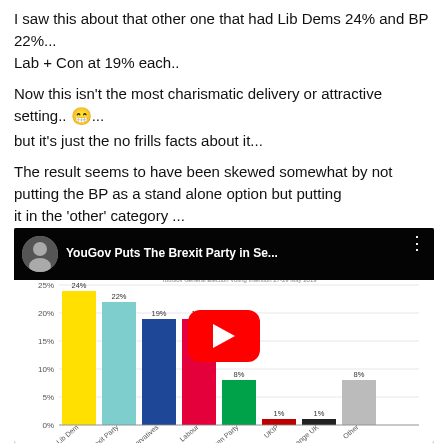I saw this about that other one that had Lib Dems 24% and BP 22%... Lab + Con at 19% each..
Now this isn't the most charismatic delivery or attractive setting.. 😁... but it's just the no frills facts about it...
The result seems to have been skewed somewhat by not putting the BP as a stand alone option but putting it in the 'other' category ...
[Figure (bar-chart): YouGov General Election Voting Intention 27-29 May 2019]